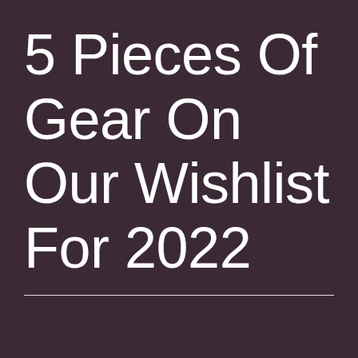5 Pieces Of Gear On Our Wishlist For 2022